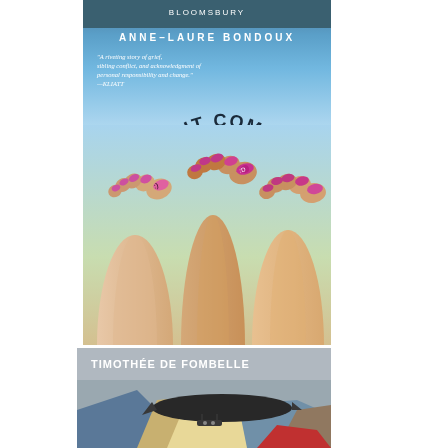[Figure (photo): Book cover of 'Life As It Comes' by Anne-Laure Bondoux, published by Bloomsbury. Cover shows three pairs of legs/feet raised in the air against a blue sky background. The title 'LIFE AS IT COMES' is written in bold diagonal text across the image. Author name 'ANNE-LAURE BONDOUX' appears at the top in spaced letters. A review quote reads 'A riveting story of grief, sibling conflict, and acknowledgment of personal responsibility and change. —KLIATT']
[Figure (photo): Partial book cover of a book by Timothée de Fombelle, showing the author name at the top and illustrated art below featuring a dark airship/zeppelin against a colorful abstract background with blue, brown, tan/cream and red tones.]